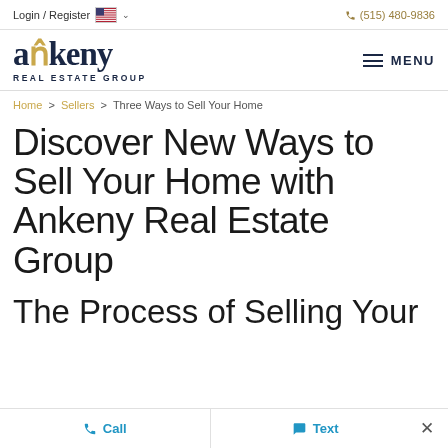Login / Register  🇺🇸  ∨    ☎ (515) 480-9836
[Figure (logo): Ankeny Real Estate Group logo with navy blue text and gold accent mark on the 'n', with MENU hamburger icon on the right]
Home > Sellers > Three Ways to Sell Your Home
Discover New Ways to Sell Your Home with Ankeny Real Estate Group
The Process of Selling Your
📞 Call    💬 Text   ×